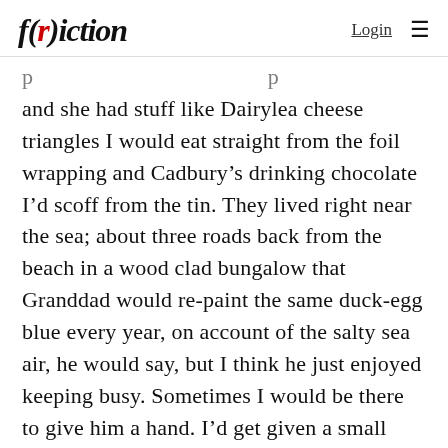f(r)iction   Login ≡
and she had stuff like Dairylea cheese triangles I would eat straight from the foil wrapping and Cadbury's drinking chocolate I'd scoff from the tin. They lived right near the sea; about three roads back from the beach in a wood clad bungalow that Granddad would re-paint the same duck-egg blue every year, on account of the salty sea air, he would say, but I think he just enjoyed keeping busy. Sometimes I would be there to give him a hand. I'd get given a small brush and pot, and told to start at the bottom. He got to use ladders, and tape a fat roller onto a really long pole for the high bits. He'd always tell me I was doing a smashing job, which made me feel great, but I'm sure he went over my bits again when I wasn't looking, or when I got bored and slunk off to watch cartoons on the telly.